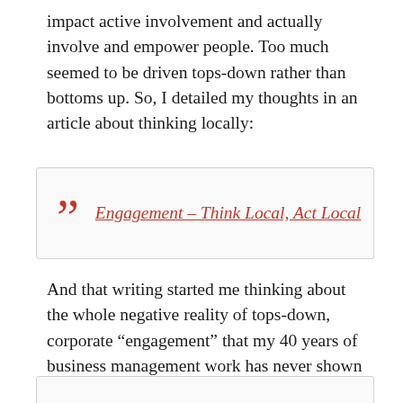impact active involvement and actually involve and empower people. Too much seemed to be driven tops-down rather than bottoms up. So, I detailed my thoughts in an article about thinking locally:
Engagement – Think Local, Act Local
And that writing started me thinking about the whole negative reality of tops-down, corporate “engagement” that my 40 years of business management work has never shown to work very well. The thought was that disrupting this approach might be interesting.